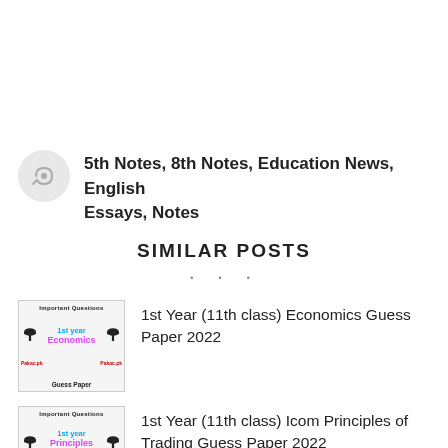5th Notes, 8th Notes, Education News, English Essays, Notes
SIMILAR POSTS
[Figure (illustration): Thumbnail image for 1st Year Economics Guess Paper 2022 showing graduation hats and text]
1st Year (11th class) Economics Guess Paper 2022
[Figure (illustration): Thumbnail image for 1st Year Icom Principles of Trading Guess Paper 2022 showing graduation hats and text]
1st Year (11th class) Icom Principles of Trading Guess Paper 2022